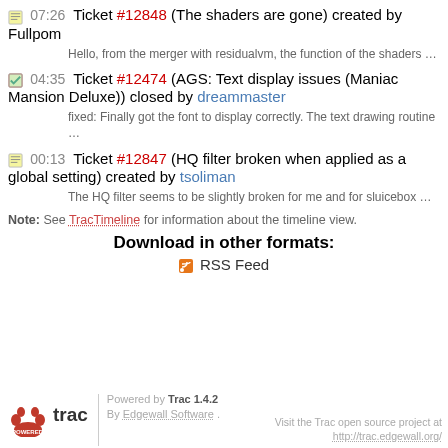07:26 Ticket #12848 (The shaders are gone) created by Fullpom
Hello, from the merger with residualvm, the function of the shaders …
04:35 Ticket #12474 (AGS: Text display issues (Maniac Mansion Deluxe)) closed by dreammaster
fixed: Finally got the font to display correctly. The text drawing routine …
00:13 Ticket #12847 (HQ filter broken when applied as a global setting) created by tsoliman
The HQ filter seems to be slightly broken for me and for sluicebox …
Note: See TracTimeline for information about the timeline view.
Download in other formats:
RSS Feed
Powered by Trac 1.4.2
By Edgewall Software .
Visit the Trac open source project at http://trac.edgewall.org/